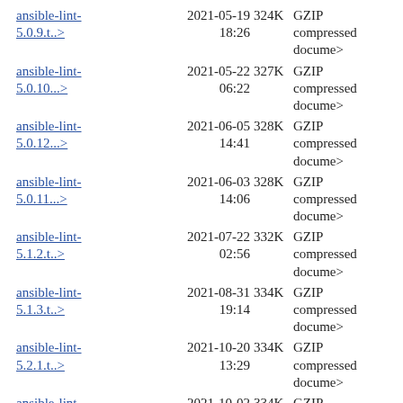ansible-lint-5.0.9.t..> 2021-05-19 18:26 324K GZIP compressed docume>
ansible-lint-5.0.10...> 2021-05-22 06:22 327K GZIP compressed docume>
ansible-lint-5.0.12...> 2021-06-05 14:41 328K GZIP compressed docume>
ansible-lint-5.0.11...> 2021-06-03 14:06 328K GZIP compressed docume>
ansible-lint-5.1.2.t..> 2021-07-22 02:56 332K GZIP compressed docume>
ansible-lint-5.1.3.t..> 2021-08-31 19:14 334K GZIP compressed docume>
ansible-lint-5.2.1.t..> 2021-10-20 13:29 334K GZIP compressed docume>
ansible-lint-5.2.0.t..> 2021-10-02 17:08 334K GZIP compressed docume>
ansible-lint-5.3.1.t..> 2021-12-08 19:34 335K GZIP compressed docume>
ansible-lint-5.4.0.t..> 2022-02-14 01:38 341K GZIP compressed docume>
Apache/2.4 Server at fra.de.distfiles.macports.org Port 80